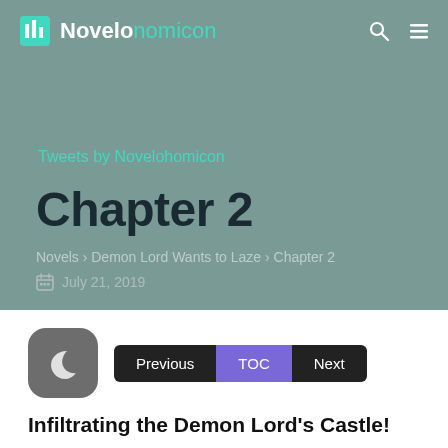Novelonomicon
Tweets by Novelohomicon
Chapter 2
Novels › Demon Lord Wants to Laze › Chapter 2
July 21, 2019
[Figure (illustration): Dark rounded square icon with a crescent moon symbol]
Previous  TOC  Next
Infiltrating the Demon Lord's Castle!